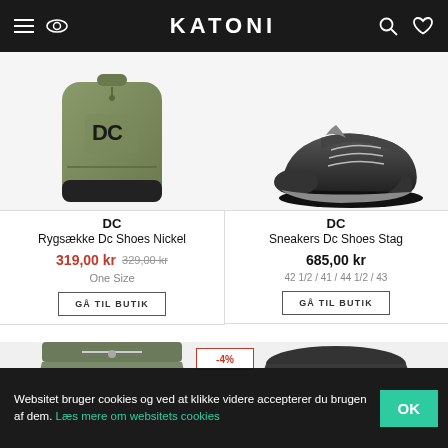KATONI
[Figure (photo): DC brand olive/green backpack with DC logo, partially visible from above]
DC
Rygsække Dc Shoes Nickel
319,00 kr  329,00 kr
One Size
[Figure (photo): DC brand grey/black sneaker shoe, partially visible from above]
DC
Sneakers Dc Shoes Stag
685,00 kr
42 1/2 / 41 / 44 1/2 / 43
[Figure (photo): Partial view of olive/green shorts, bottom of page]
[Figure (photo): Partial view of dark DC bucket hat, bottom of page]
-4%
Websitet bruger cookies og ved at klikke videre accepterer du brugen af dem. Læs mere om websitets cookies